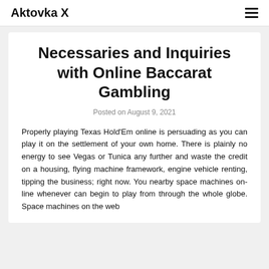Aktovka X
Necessaries and Inquiries with Online Baccarat Gambling
Posted on August 9, 2021
Properly playing Texas Hold'Em online is persuading as you can play it on the settlement of your own home. There is plainly no energy to see Vegas or Tunica any further and waste the credit on a housing, flying machine framework, engine vehicle renting, tipping the business; right now. You nearby space machines on-line whenever can begin to play from through the whole globe. Space machines on the web